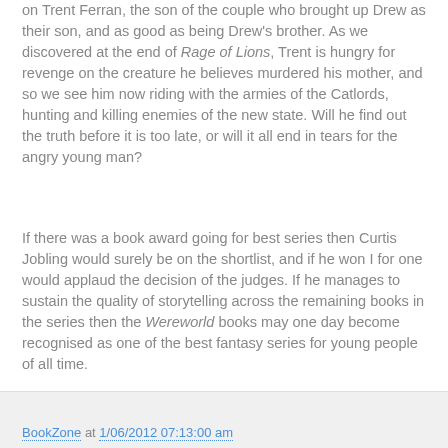on Trent Ferran, the son of the couple who brought up Drew as their son, and as good as being Drew's brother. As we discovered at the end of Rage of Lions, Trent is hungry for revenge on the creature he believes murdered his mother, and so we see him now riding with the armies of the Catlords, hunting and killing enemies of the new state. Will he find out the truth before it is too late, or will it all end in tears for the angry young man?
If there was a book award going for best series then Curtis Jobling would surely be on the shortlist, and if he won I for one would applaud the decision of the judges. If he manages to sustain the quality of storytelling across the remaining books in the series then the Wereworld books may one day become recognised as one of the best fantasy series for young people of all time.
BookZone at 1/06/2012 07:13:00 am